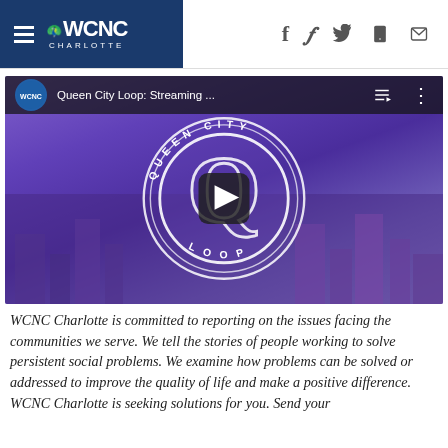WCNC Charlotte — navigation bar with hamburger menu, WCNC logo, and social/share icons (Facebook, Twitter, mobile, email)
[Figure (screenshot): YouTube embedded video player showing 'Queen City Loop: Streaming ...' with WCNC Charlotte channel icon, Queen City Loop circular logo overlaid on a purple city skyline background, and a play button in the center.]
WCNC Charlotte is committed to reporting on the issues facing the communities we serve. We tell the stories of people working to solve persistent social problems. We examine how problems can be solved or addressed to improve the quality of life and make a positive difference. WCNC Charlotte is seeking solutions for you. Send your